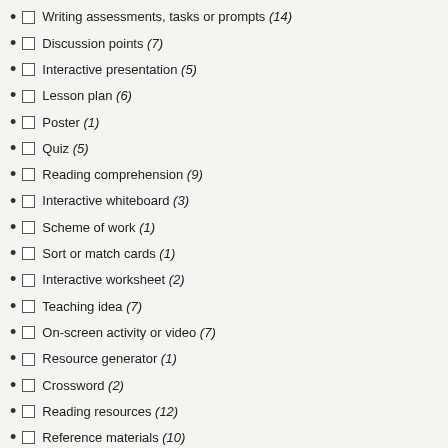Writing assessments, tasks or prompts (14)
Discussion points (7)
Interactive presentation (5)
Lesson plan (6)
Poster (1)
Quiz (5)
Reading comprehension (9)
Interactive whiteboard (3)
Scheme of work (1)
Sort or match cards (1)
Interactive worksheet (2)
Teaching idea (7)
On-screen activity or video (7)
Resource generator (1)
Crossword (2)
Reading resources (12)
Reference materials (10)
Task sheets (35)
Teacher guidance (4)
Writing resources (15)
Quizzes, games and puzzles (10)
Kinaesthetic learning (2)
Long and short term planning (10)
On-screen resources (49)
Oral and aural (9)